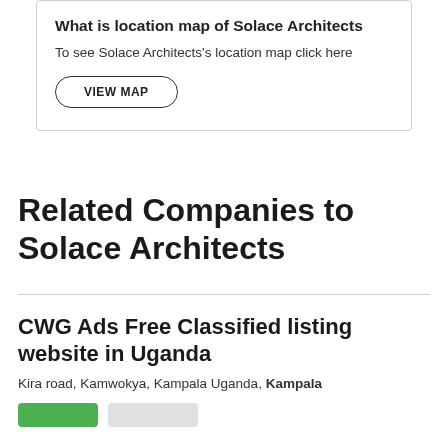What is location map of Solace Architects
To see Solace Architects's location map click here
VIEW MAP
Related Companies to Solace Architects
CWG Ads Free Classified listing website in Uganda
Kira road, Kamwokya, Kampala Uganda, Kampala